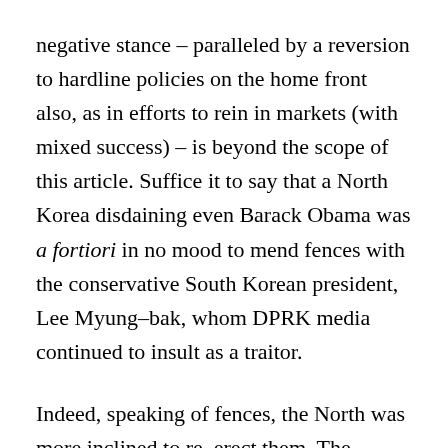negative stance – paralleled by a reversion to hardline policies on the home front also, as in efforts to rein in markets (with mixed success) – is beyond the scope of this article. Suffice it to say that a North Korea disdaining even Barack Obama was a fortiori in no mood to mend fences with the conservative South Korean president, Lee Myung–bak, whom DPRK media continued to insult as a traitor.
Indeed, speaking of fences, the North was more inclined to re–erect them. The quarter's main inter–Korean event was March's petty and self–defeating – but also calibrated and temporary –